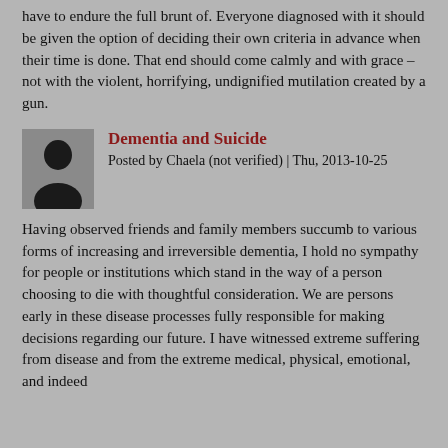have to endure the full brunt of. Everyone diagnosed with it should be given the option of deciding their own criteria in advance when their time is done. That end should come calmly and with grace – not with the violent, horrifying, undignified mutilation created by a gun.
[Figure (illustration): Silhouette avatar icon of a person (generic user profile image), dark gray/black on gray background]
Dementia and Suicide
Posted by Chaela (not verified) | Thu, 2013-10-25
Having observed friends and family members succumb to various forms of increasing and irreversible dementia, I hold no sympathy for people or institutions which stand in the way of a person choosing to die with thoughtful consideration. We are persons early in these disease processes fully responsible for making decisions regarding our future. I have witnessed extreme suffering from disease and from the extreme medical, physical, emotional, and indeed